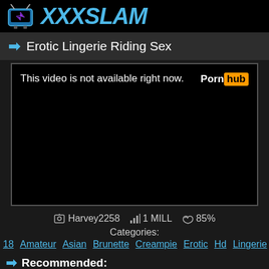XXXSLAM
Erotic Lingerie Riding Sex
[Figure (screenshot): Embedded video player showing 'This video is not available right now.' with Pornhub logo in top right, black background.]
Harvey2258  1 MILL  85%
Categories:
18  Amateur  Asian  Brunette  Creampie  Erotic  Hd  Lingerie  Reality  Ridin
Recommended: